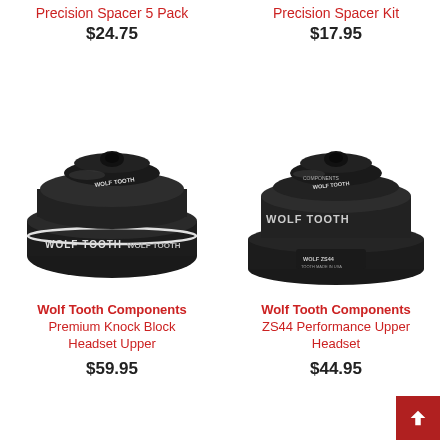Precision Spacer 5 Pack
$24.75
Precision Spacer Kit
$17.95
[Figure (photo): Wolf Tooth Components Premium Knock Block Headset Upper - black bicycle headset component photographed from above showing WOLF TOOTH branding on circular black anodized aluminum parts]
Wolf Tooth Components Premium Knock Block Headset Upper
$59.95
[Figure (photo): Wolf Tooth Components ZS44 Performance Upper Headset - black bicycle headset component photographed from above showing WOLF TOOTH branding, ZS44 label, circular black anodized aluminum parts]
Wolf Tooth Components ZS44 Performance Upper Headset
$44.95